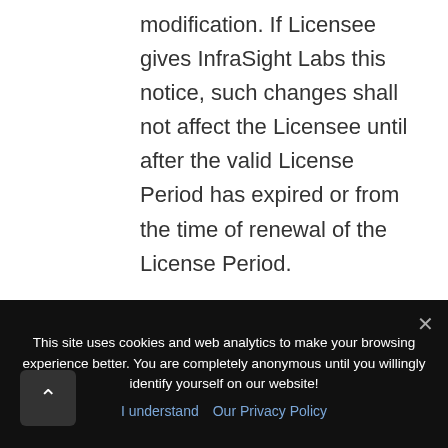modification. If Licensee gives InfraSight Labs this notice, such changes shall not affect the Licensee until after the valid License Period has expired or from the time of renewal of the License Period.
4. In the event that any provision of the Licensing
This site uses cookies and web analytics to make your browsing experience better. You are completely anonymous until you willingly identify yourself on our website!